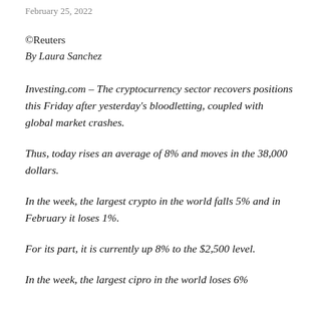February 25, 2022
©Reuters
By Laura Sanchez
Investing.com – The cryptocurrency sector recovers positions this Friday after yesterday's bloodletting, coupled with global market crashes.
Thus, today rises an average of 8% and moves in the 38,000 dollars.
In the week, the largest crypto in the world falls 5% and in February it loses 1%.
For its part, it is currently up 8% to the $2,500 level.
In the week, the largest cipro in the world loses 6%